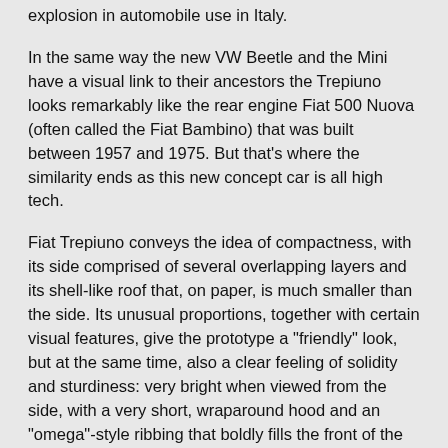explosion in automobile use in Italy.
In the same way the new VW Beetle and the Mini have a visual link to their ancestors the Trepiuno looks remarkably like the rear engine Fiat 500 Nuova (often called the Fiat Bambino) that was built between 1957 and 1975. But that's where the similarity ends as this new concept car is all high tech.
Fiat Trepiuno conveys the idea of compactness, with its side comprised of several overlapping layers and its shell-like roof that, on paper, is much smaller than the side. Its unusual proportions, together with certain visual features, give the prototype a "friendly" look, but at the same time, also a clear feeling of solidity and sturdiness: very bright when viewed from the side, with a very short, wraparound hood and an "omega"-style ribbing that boldly fills the front of the car.
All these hints of the past have something in common: all the elements recreated on the Fiat Trepiuno were analysed and considered necessary on a modern car, albeit with a careful review of functions and materials. For example, the